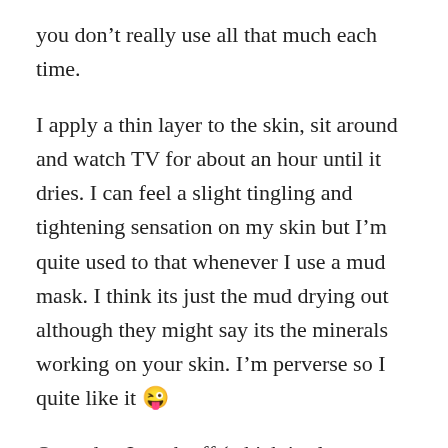you don't really use all that much each time.
I apply a thin layer to the skin, sit around and watch TV for about an hour until it dries. I can feel a slight tingling and tightening sensation on my skin but I'm quite used to that whenever I use a mud mask. I think its just the mud drying out although they might say its the minerals working on your skin. I'm perverse so I quite like it 😜
Once dry, I wash off (which is always a pain with mud masks and takes longer and messes up the bathroom more than I like) and I find that my skin is lovely and smooth to the touch. I do note that this particular clay